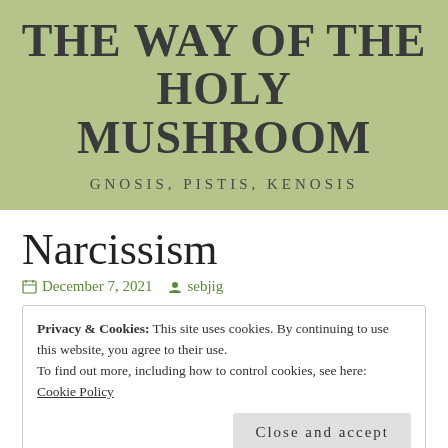THE WAY OF THE HOLY MUSHROOM
GNOSIS, PISTIS, KENOSIS
Narcissism
December 7, 2021   sebjig
Privacy & Cookies: This site uses cookies. By continuing to use this website, you agree to their use.
To find out more, including how to control cookies, see here:
Cookie Policy
Close and accept
adoration. A narcissist believes that he is a Very